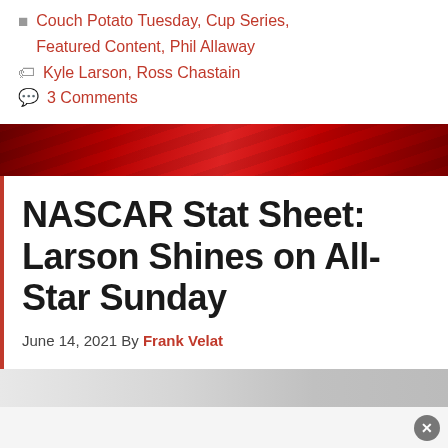Couch Potato Tuesday, Cup Series, Featured Content, Phil Allaway
Kyle Larson, Ross Chastain
3 Comments
NASCAR Stat Sheet: Larson Shines on All-Star Sunday
June 14, 2021 By Frank Velat